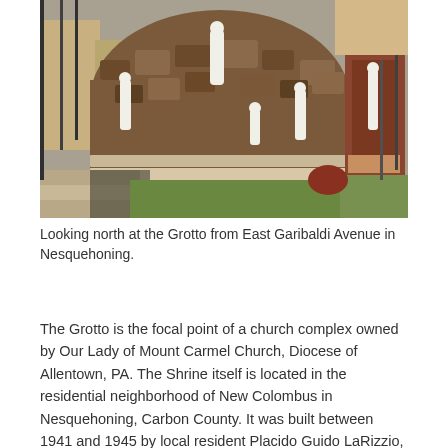[Figure (photo): Outdoor photograph looking north at the Grotto from East Garibaldi Avenue in Nesquehoning. Shows a stone grotto structure with white religious statues, including a standing figure at the top center, and other statues arranged around the rocky structure. Steps are visible in the foreground. A red-brown stone arch with a statue is on the right side.]
Looking north at the Grotto from East Garibaldi Avenue in Nesquehoning.
The Grotto is the focal point of a church complex owned by Our Lady of Mount Carmel Church, Diocese of Allentown, PA.  The Shrine itself is located in the residential neighborhood of New Colombus in Nesquehoning, Carbon County.  It was built between 1941 and 1945 by local resident Placido Guido LaRizzio, at a time when, according to the nomination, Italian immigrants and their descendants were struggling to define a place within the